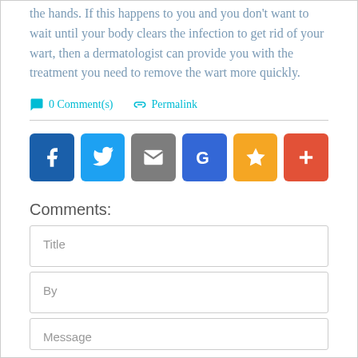the hands. If this happens to you and you don't want to wait until your body clears the infection to get rid of your wart, then a dermatologist can provide you with the treatment you need to remove the wart more quickly.
0 Comment(s)   Permalink
[Figure (infographic): Social sharing buttons: Facebook (blue), Twitter (light blue), Email (gray), Google (blue), Bookmark/Star (gold), Add/Plus (red-orange)]
Comments:
Title
By
Message